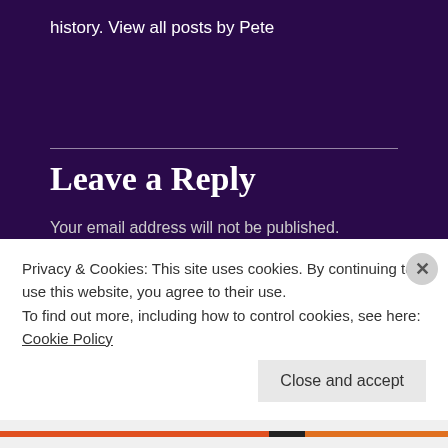history. View all posts by Pete
Leave a Reply
Your email address will not be published. Required fields are marked *
Comment *
Privacy & Cookies: This site uses cookies. By continuing to use this website, you agree to their use.
To find out more, including how to control cookies, see here: Cookie Policy
Close and accept